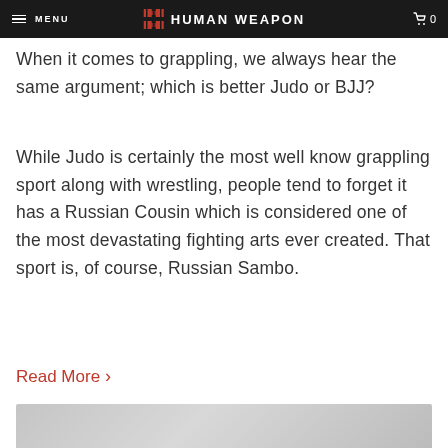MENU | HUMAN WEAPON | 0
When it comes to grappling, we always hear the same argument; which is better Judo or BJJ?
While Judo is certainly the most well know grappling sport along with wrestling, people tend to forget it has a Russian Cousin which is considered one of the most devastating fighting arts ever created. That sport is, of course, Russian Sambo.
Read More >
[Figure (photo): Blurred/greyed out image at the bottom of the page]